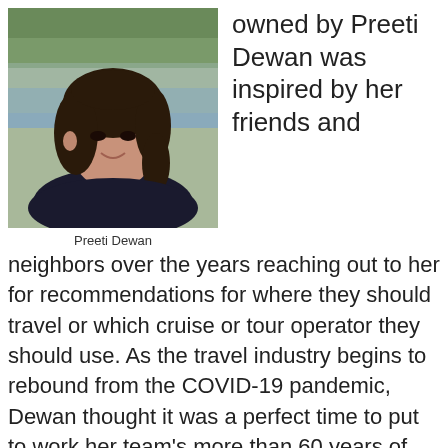[Figure (photo): Portrait photo of Preeti Dewan, a woman with dark curly hair, smiling, wearing a dark top, with a water and trees background.]
Preeti Dewan
owned by Preeti Dewan was inspired by her friends and neighbors over the years reaching out to her for recommendations for where they should travel or which cruise or tour operator they should use. As the travel industry begins to rebound from the COVID-19 pandemic, Dewan thought it was a perfect time to put to work her team's more than 60 years of executive leadership experience working roles such as product design, operations and contracting for some of the nation's top tour and cruise operators that work in 70 countries